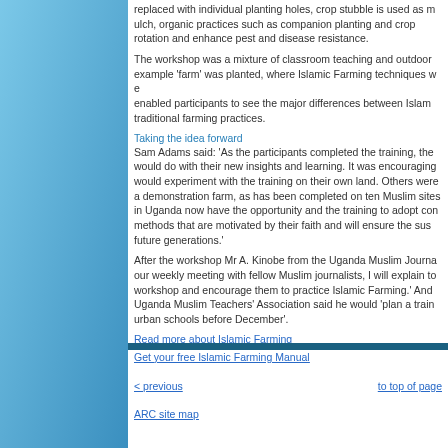replaced with individual planting holes, crop stubble is used as mulch, organic practices such as companion planting and crop rotation are used and enhance pest and disease resistance.
The workshop was a mixture of classroom teaching and outdoor work. An example 'farm' was planted, where Islamic Farming techniques were used, enabled participants to see the major differences between Islamic and traditional farming practices.
Taking the idea forward
Sam Adams said: 'As the participants completed the training, they thought would do with their new insights and learning. It was encouraging to see would experiment with the training on their own land. Others were keen on a demonstration farm, as has been completed on ten Muslim sites. Farmers in Uganda now have the opportunity and the training to adopt conservation methods that are motivated by their faith and will ensure the sustainability future generations.'
After the workshop Mr A. Kinobe from the Uganda Muslim Journal said: 'At our weekly meeting with fellow Muslim journalists, I will explain to them the workshop and encourage them to practice Islamic Farming.' And a member of Uganda Muslim Teachers' Association said he would 'plan a training for urban schools before December'.
Read more about Islamic Farming
Get your free Islamic Farming Manual
< previous
to top of page
ARC site map